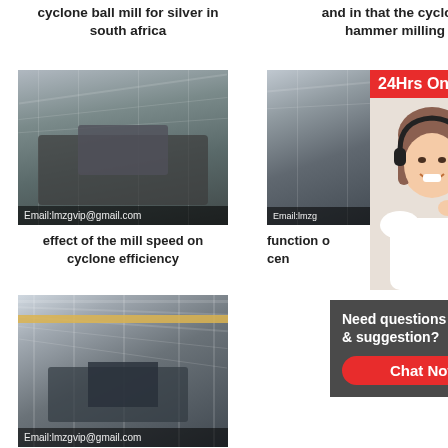cyclone ball mill for silver in south africa
and in that the cyclone hammer milling
[Figure (photo): Factory interior with industrial machinery and equipment. Email:lmzgvip@gmail.com overlay at bottom.]
[Figure (photo): Factory interior with industrial equipment and '24Hrs Online' banner overlay, and customer service representative with headset.]
effect of the mill speed on cyclone efficiency
function o cen
[Figure (photo): Large factory warehouse interior with overhead cranes and industrial equipment. Email:lmzgvip@gmail.com overlay at bottom.]
used grinding machine with cyclone type gs250
[Figure (infographic): Chat widget: 'Need questions & suggestion? Chat Now' button on dark grey background.]